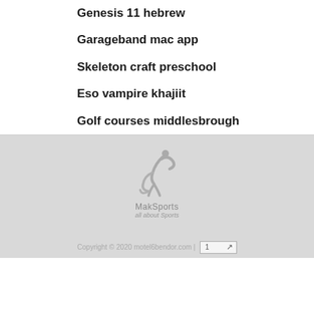Genesis 11 hebrew
Garageband mac app
Skeleton craft preschool
Eso vampire khajiit
Golf courses middlesbrough
[Figure (logo): MakSports logo with stylized figure and text 'MakSports all about Sports']
Copyright © 2020 motel6bendor.com | 1